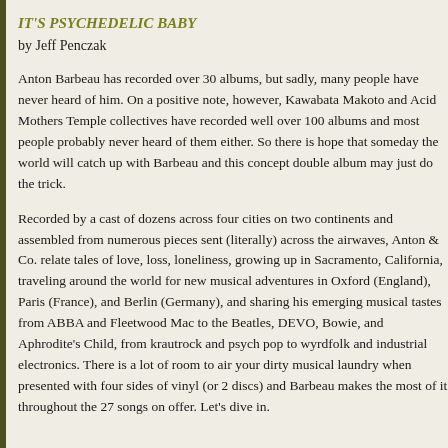IT'S PSYCHEDELIC BABY
by Jeff Penczak
Anton Barbeau has recorded over 30 albums, but sadly, many people have never heard of him. On a positive note, however, Kawabata Makoto and Acid Mothers Temple collectives have recorded well over 100 albums and most people probably never heard of them either. So there is hope that someday the world will catch up with Barbeau and this concept double album may just do the trick.
Recorded by a cast of dozens across four cities on two continents and assembled from numerous pieces sent (literally) across the airwaves, Anton & Co. relate tales of love, loss, loneliness, growing up in Sacramento, California, traveling around the world for new musical adventures in Oxford (England), Paris (France), and Berlin (Germany), and sharing his emerging musical tastes from ABBA and Fleetwood Mac to the Beatles, DEVO, Bowie, and Aphrodite's Child, from krautrock and psych pop to wyrdfolk and industrial electronics. There is a lot of room to air your dirty musical laundry when presented with four sides of vinyl (or 2 discs) and Barbeau makes the most of it throughout the 27 songs on offer. Let's dive in.